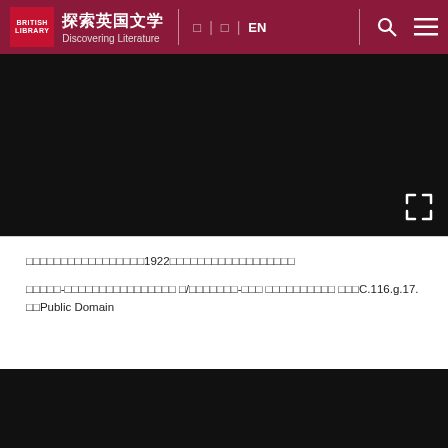探索英国文学 Discovering Literature | □ | □ | EN
[Figure (screenshot): Black image viewer area (top) with fullscreen expand icon in bottom-right corner]
□□□□□□□□□□□□□□□□□1922□□□□□□□□□□□□□□□□□□
□□□□□-□□□□□□□□□□□□□□□□ □/□□□□□□□-□□□ □□□□□□□□□□ □□□C.116.g.17. □□Public Domain
[Figure (screenshot): Black image viewer area (bottom)]